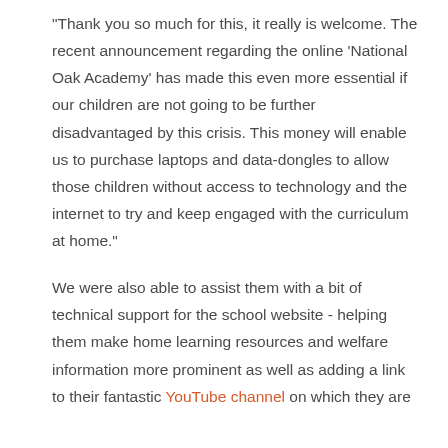"Thank you so much for this, it really is welcome. The recent announcement regarding the online 'National Oak Academy' has made this even more essential if our children are not going to be further disadvantaged by this crisis. This money will enable us to purchase laptops and data-dongles to allow those children without access to technology and the internet to try and keep engaged with the curriculum at home."
We were also able to assist them with a bit of technical support for the school website - helping them make home learning resources and welfare information more prominent as well as adding a link to their fantastic YouTube channel on which they are